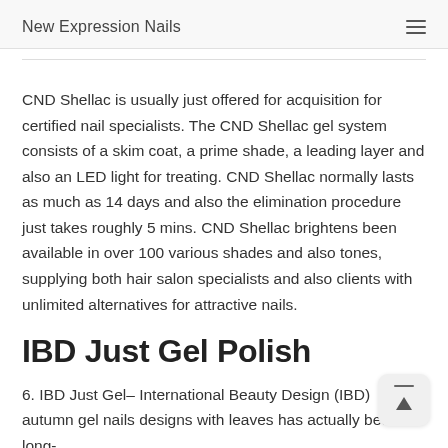New Expression Nails
CND Shellac is usually just offered for acquisition for certified nail specialists. The CND Shellac gel system consists of a skim coat, a prime shade, a leading layer and also an LED light for treating. CND Shellac normally lasts as much as 14 days and also the elimination procedure just takes roughly 5 mins. CND Shellac brightens been available in over 100 various shades and also tones, supplying both hair salon specialists and also clients with unlimited alternatives for attractive nails.
IBD Just Gel Polish
6. IBD Just Gel– International Beauty Design (IBD) autumn gel nails designs with leaves has actually been a long-